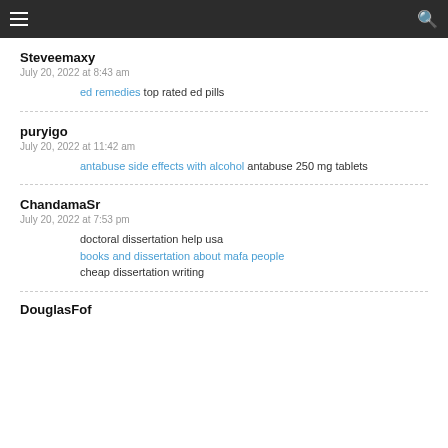Navigation bar with hamburger menu and search icon
Steveemaxy
July 20, 2022 at 8:43 am
ed remedies top rated ed pills
puryigo
July 20, 2022 at 11:42 am
antabuse side effects with alcohol antabuse 250 mg tablets
ChandamaSr
July 20, 2022 at 7:53 pm
doctoral dissertation help usa books and dissertation about mafa people cheap dissertation writing
DouglasFof